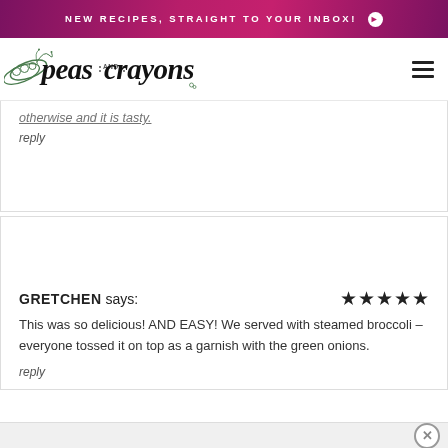NEW RECIPES, STRAIGHT TO YOUR INBOX! →
[Figure (logo): Peas and Crayons blog logo with illustrated pea pod and script/handwritten text]
otherwise and it is tasty.
reply
GRETCHEN says: ★★★★★
This was so delicious! AND EASY! We served with steamed broccoli – everyone tossed it on top as a garnish with the green onions.
reply